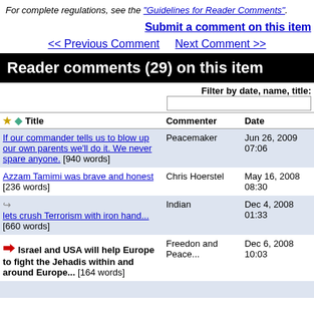For complete regulations, see the "Guidelines for Reader Comments".
Submit a comment on this item
<< Previous Comment   Next Comment >>
Reader comments (29) on this item
|  | Title | Commenter | Date |
| --- | --- | --- | --- |
| [link] | If our commander tells us to blow up our own parents we'll do it. We never spare anyone. [940 words] | Peacemaker | Jun 26, 2009 07:06 |
|  | Azzam Tamimi was brave and honest [236 words] | Chris Hoerstel | May 16, 2008 08:30 |
| reply | lets crush Terrorism with iron hand... [660 words] | Indian | Dec 4, 2008 01:33 |
| red-arrow | Israel and USA will help Europe to fight the Jehadis within and around Europe... [164 words] | Freedon and Peace... | Dec 6, 2008 10:03 |